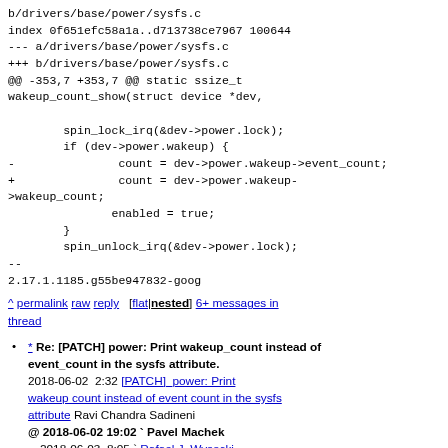b/drivers/base/power/sysfs.c
index 0f651efc58a1a..d713738ce7967 100644
--- a/drivers/base/power/sysfs.c
+++ b/drivers/base/power/sysfs.c
@@ -353,7 +353,7 @@ static ssize_t
wakeup_count_show(struct device *dev,

        spin_lock_irq(&dev->power.lock);
        if (dev->power.wakeup) {
-               count = dev->power.wakeup->event_count;
+               count = dev->power.wakeup-
>wakeup_count;
               enabled = true;
        }
        spin_unlock_irq(&dev->power.lock);
--
2.17.1.1185.g55be947832-goog
^ permalink raw reply [flat|nested] 6+ messages in thread
* Re: [PATCH] power: Print wakeup_count instead of event_count in the sysfs attribute. 2018-06-02 2:32 [PATCH] power: Print wakeup count instead of event count in the sysfs attribute Ravi Chandra Sadineni @ 2018-06-02 19:02 ` Pavel Machek 2018-06-03 8:05 ` Rafael J. Wysocki 1 sibling, 0 replies; 6+ messages in thread From: Pavel Machek @ 2018-06-02 19:02 UTC (permalink / raw)